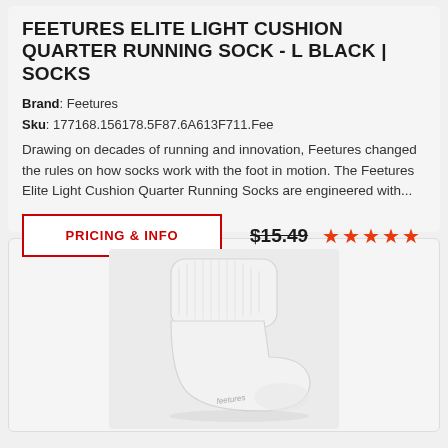FEETURES ELITE LIGHT CUSHION QUARTER RUNNING SOCK - L BLACK | SOCKS
Brand: Feetures
Sku: 177168.156178.5F87.6A613F711.Fee
Drawing on decades of running and innovation, Feetures changed the rules on how socks work with the foot in motion. The Feetures Elite Light Cushion Quarter Running Socks are engineered with...
PRICING & INFO
$15.49
[Figure (other): Rating: 5 orange stars]
[Figure (photo): Photo of a white Feetures quarter running sock on a light grey background, showing the sock from the side with the Feetures logo visible on the bottom.]